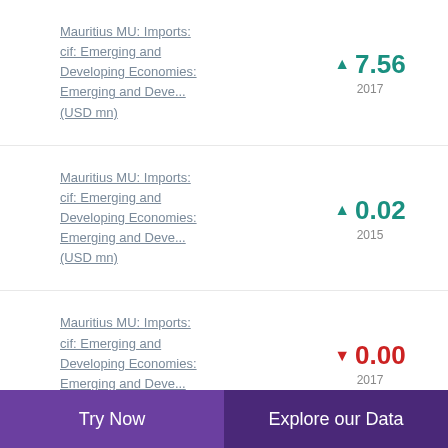Mauritius MU: Imports: cif: Emerging and Developing Economies: Emerging and Deve... (USD mn)
Mauritius MU: Imports: cif: Emerging and Developing Economies: Emerging and Deve... (USD mn)
Mauritius MU: Imports: cif: Emerging and Developing Economies: Emerging and Deve... (USD mn)
Try Now | Explore our Data